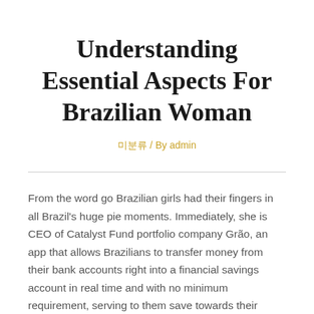Understanding Essential Aspects For Brazilian Woman
미분류 / By admin
From the word go Brazilian girls had their fingers in all Brazil's huge pie moments. Immediately, she is CEO of Catalyst Fund portfolio company Grão, an app that allows Brazilians to transfer money from their bank accounts right into a financial savings account in real time and with no minimum requirement, serving to them save towards their targets, R$1 at a time. If there is no spark, no ardour, no feelings in a relationship – it isn't a relationship for a Brazilian